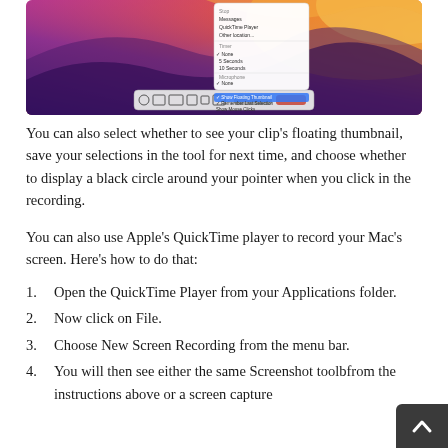[Figure (screenshot): macOS screen recording toolbar and dropdown menu showing options over a colorful macOS Big Sur wallpaper (gradient pink/orange/purple). A context menu is visible with options including 'Show Floating Thumbnail', 'Remember Last Selection', 'Show Mouse Clicks'.]
You can also select whether to see your clip’s floating thumbnail, save your selections in the tool for next time, and choose whether to display a black circle around your pointer when you click in the recording.
You can also use Apple’s QuickTime player to record your Mac’s screen. Here’s how to do that:
Open the QuickTime Player from your Applications folder.
Now click on File.
Choose New Screen Recording from the menu bar.
You will then see either the same Screenshot toolbar from the instructions above or a screen capture